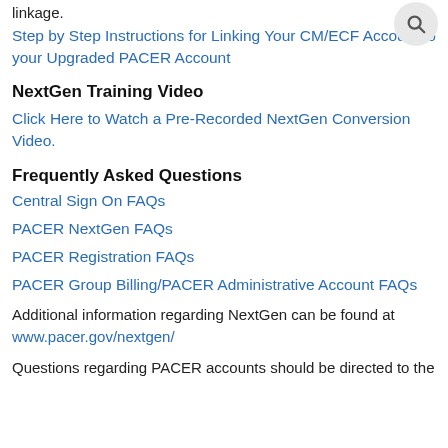linkage.
Step by Step Instructions for Linking Your CM/ECF Account to your Upgraded PACER Account
NextGen Training Video
Click Here to Watch a Pre-Recorded NextGen Conversion Video.
Frequently Asked Questions
Central Sign On FAQs
PACER NextGen FAQs
PACER Registration FAQs
PACER Group Billing/PACER Administrative Account FAQs
Additional information regarding NextGen can be found at www.pacer.gov/nextgen/
Questions regarding PACER accounts should be directed to the